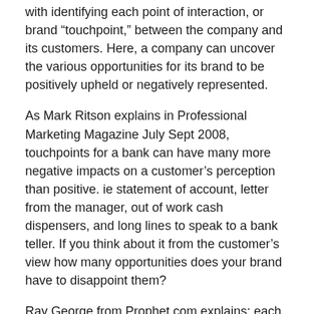with identifying each point of interaction, or brand “touchpoint,” between the company and its customers. Here, a company can uncover the various opportunities for its brand to be positively upheld or negatively represented.
As Mark Ritson explains in Professional Marketing Magazine July Sept 2008, touchpoints for a bank can have many more negative impacts on a customer’s perception than positive. ie statement of account, letter from the manager, out of work cash dispensers, and long lines to speak to a bank teller. If you think about it from the customer’s view how many opportunities does your brand have to disappoint them?
Ray George from Prophet.com explains: each activity falls within the three touchpoint experience categories: pre-purchase, purchase (or usage), and post-purchase. Pre-purchase experience touchpoints represent the